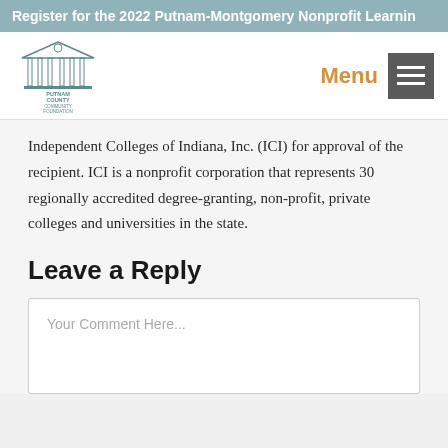Register for the 2022 Putnam-Montgomery Nonprofit Learnin
[Figure (logo): Putnam County Community Foundation logo with a building/columns illustration]
Independent Colleges of Indiana, Inc. (ICI) for approval of the recipient. ICI is a nonprofit corporation that represents 30 regionally accredited degree-granting, non-profit, private colleges and universities in the state.
Leave a Reply
Your Comment Here...